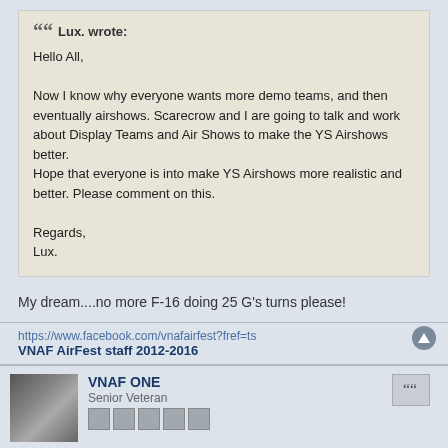Lux. wrote:
Hello All,

Now I know why everyone wants more demo teams, and then eventually airshows. Scarecrow and I are going to talk and work about Display Teams and Air Shows to make the YS Airshows better.
Hope that everyone is into make YS Airshows more realistic and better. Please comment on this.

Regards,
Lux.
My dream....no more F-16 doing 25 G's turns please!
https://www.facebook.com/vnafairfest?fref=ts
VNAF AirFest staff 2012-2016
VNAF ONE
Senior Veteran
Sun Jun 10, 2012 7:56 pm
One of VNAF's future aims and also supposedly my part in YSAS is to improve and ensure the realistic or at least reliable quality in our air